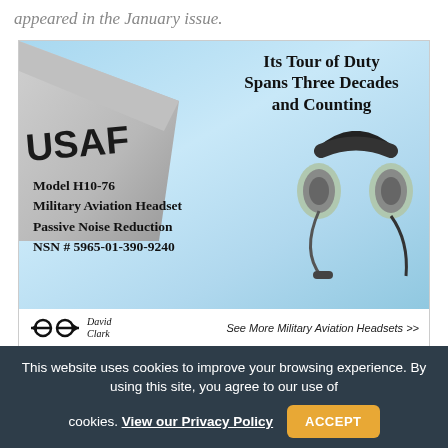appeared in the January issue.
[Figure (illustration): David Clark Model H10-76 Military Aviation Headset advertisement. Blue sky background with USAF aircraft wing visible on the left. Headline: 'Its Tour of Duty Spans Three Decades and Counting'. Shows a military aviation headset with text: Model H10-76, Military Aviation Headset, Passive Noise Reduction, NSN # 5965-01-390-9240. David Clark logo with tagline: See More Military Aviation Headsets >>]
This website uses cookies to improve your browsing experience. By using this site, you agree to our use of cookies. View our Privacy Policy  ACCEPT